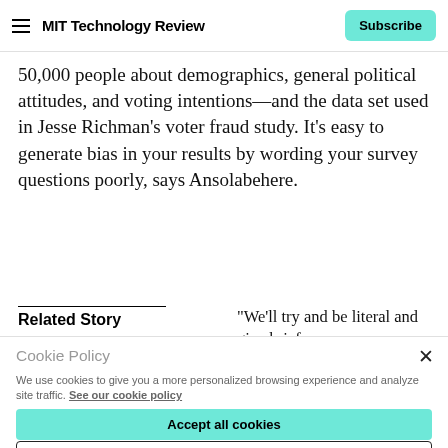MIT Technology Review | Subscribe
50,000 people about demographics, general political attitudes, and voting intentions—and the data set used in Jesse Richman's voter fraud study. It's easy to generate bias in your results by wording your survey questions poorly, says Ansolabehere.
Related Story
“We’ll try and be literal and give brief
Cookie Policy
We use cookies to give you a more personalized browsing experience and analyze site traffic. See our cookie policy
Accept all cookies
Cookies settings